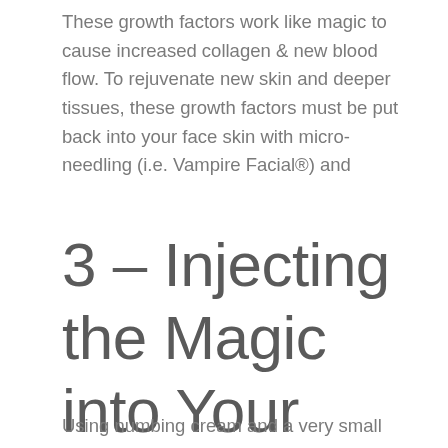These growth factors work like magic to cause increased collagen & new blood flow. To rejuvenate new skin and deeper tissues, these growth factors must be put back into your face skin with micro-needling (i.e. Vampire Facial®) and
3 – Injecting the Magic into Your Face
Using numbing cream and a very small